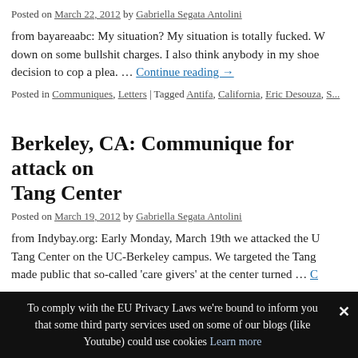Posted on March 22, 2012 by Gabriella Segata Antolini
from bayareaabc: My situation? My situation is totally fucked. W... down on some bullshit charges. I also think anybody in my shoe... decision to cop a plea. … Continue reading →
Posted in Communiques, Letters | Tagged Antifa, California, Eric Desouza, S...
Berkeley, CA: Communique for attack on Tang Center
Posted on March 19, 2012 by Gabriella Segata Antolini
from Indybay.org: Early Monday, March 19th we attacked the U... Tang Center on the UC-Berkeley campus. We targeted the Tang... made public that so-called 'care givers' at the center turned … C
Posted in Actions | Tagged #Occupy, Berkeley, California, Justin Solandz, L...
To comply with the EU Privacy Laws we're bound to inform you that some third party services used on some of our blogs (like Youtube) could use cookies Learn more